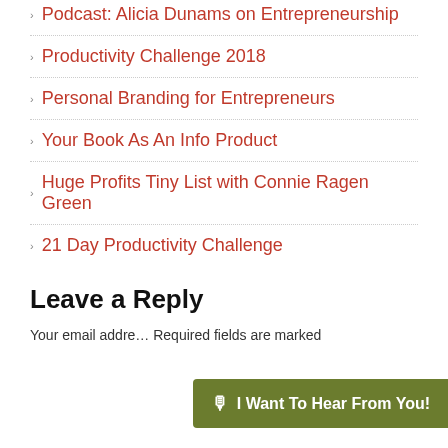Podcast: Alicia Dunams on Entrepreneurship
Productivity Challenge 2018
Personal Branding for Entrepreneurs
Your Book As An Info Product
Huge Profits Tiny List with Connie Ragen Green
21 Day Productivity Challenge
Leave a Reply
Your email addre... Required fields are marked
I Want To Hear From You!